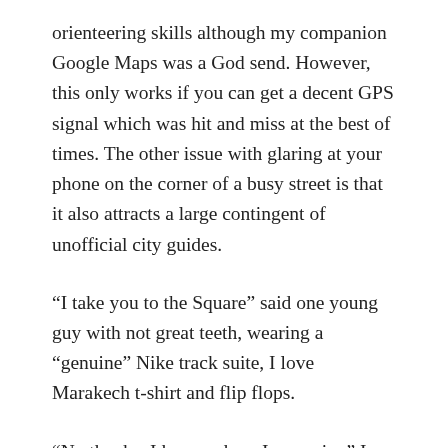orienteering skills although my companion Google Maps was a God send. However, this only works if you can get a decent GPS signal which was hit and miss at the best of times. The other issue with glaring at your phone on the corner of a busy street is that it also attracts a large contingent of unofficial city guides.
“I take you to the Square” said one young guy with not great teeth, wearing a “genuine” Nike track suite, I love Marakech t-shirt and flip flops.
“No thanks, I know where I am going” I replied politely (hoping he didn’t notice my nose growing at that point).
“No problem, no money no funny” he said with a smile and a glint in his eye. He clearly knew that he had a lost